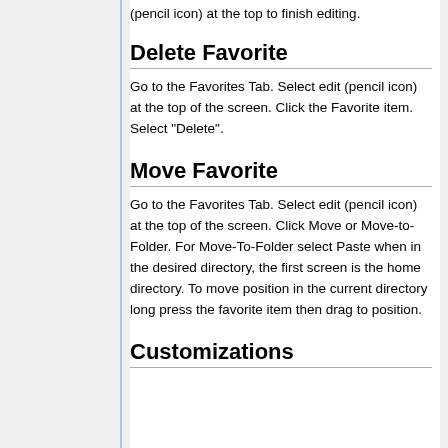(pencil icon) at the top to finish editing.
Delete Favorite
Go to the Favorites Tab. Select edit (pencil icon) at the top of the screen. Click the Favorite item. Select "Delete".
Move Favorite
Go to the Favorites Tab. Select edit (pencil icon) at the top of the screen. Click Move or Move-to-Folder. For Move-To-Folder select Paste when in the desired directory, the first screen is the home directory. To move position in the current directory long press the favorite item then drag to position.
Customizations